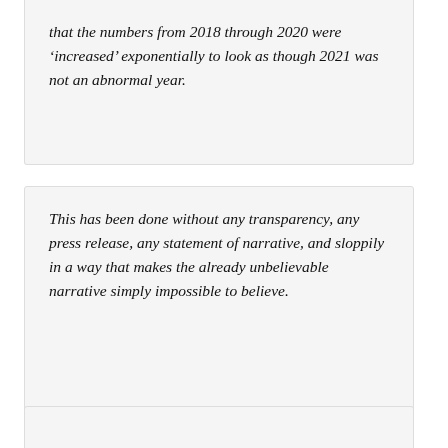that the numbers from 2018 through 2020 were 'increased' exponentially to look as though 2021 was not an abnormal year.
This has been done without any transparency, any press release, any statement of narrative, and sloppily in a way that makes the already unbelievable narrative simply impossible to believe.
In addition to believing that every epidemiological